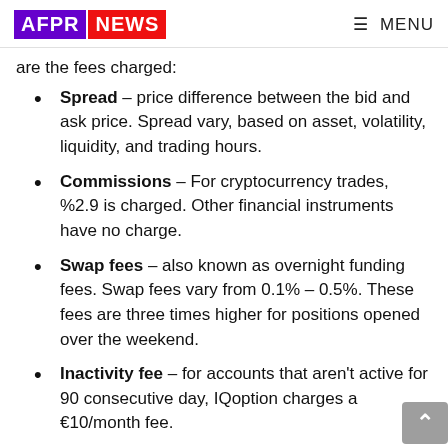AFPR NEWS  ≡ MENU
are the fees charged:
Spread – price difference between the bid and ask price. Spread vary, based on asset, volatility, liquidity, and trading hours.
Commissions – For cryptocurrency trades, %2.9 is charged. Other financial instruments have no charge.
Swap fees – also known as overnight funding fees. Swap fees vary from 0.1% – 0.5%. These fees are three times higher for positions opened over the weekend.
Inactivity fee – for accounts that aren't active for 90 consecutive day, IQoption charges a €10/month fee.